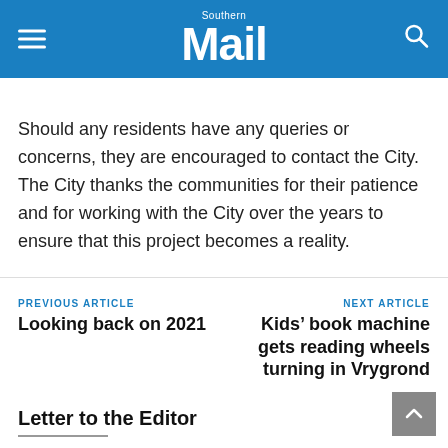Southern Mail
Should any residents have any queries or concerns, they are encouraged to contact the City. The City thanks the communities for their patience and for working with the City over the years to ensure that this project becomes a reality.
PREVIOUS ARTICLE
Looking back on 2021
NEXT ARTICLE
Kids’ book machine gets reading wheels turning in Vrygrond
Letter to the Editor